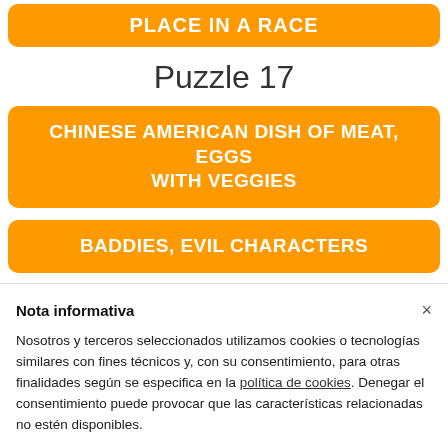PLACE IN A RACE
Puzzle 17
CHINESE AMERICAN DISH OF MEAT, EGGS WITH VEGGIES
BADDIES, EVIL CHARACTERS
THOMAS, IDIOM THAT REFERENCES THE
Nota informativa
Nosotros y terceros seleccionados utilizamos cookies o tecnologías similares con fines técnicos y, con su consentimiento, para otras finalidades según se especifica en la política de cookies. Denegar el consentimiento puede provocar que las características relacionadas no estén disponibles.